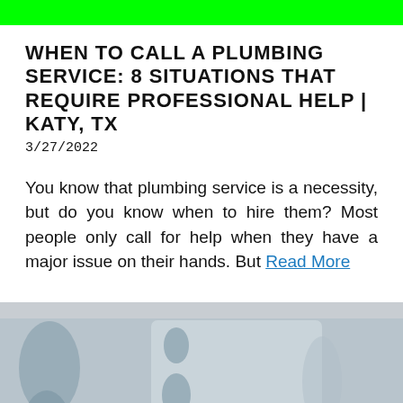WHEN TO CALL A PLUMBING SERVICE: 8 SITUATIONS THAT REQUIRE PROFESSIONAL HELP | KATY, TX
3/27/2022
You know that plumbing service is a necessity, but do you know when to hire them? Most people only call for help when they have a major issue on their hands. But Read More
[Figure (illustration): Partial illustration of a toilet (plumbing fixture) shown from above/side, in a blue-grey color scheme, cropped at the bottom of the page.]